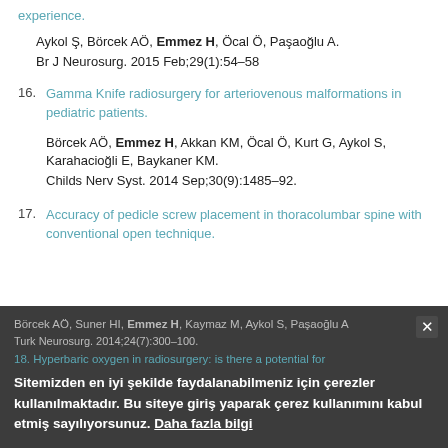experience.
Aykol Ş, Börcek AÖ, Emmez H, Öcal Ö, Paşaoğlu A.
Br J Neurosurg. 2015 Feb;29(1):54–58
16. Gamma Knife radiosurgery for arteriovenous malformations in pediatric patients.
Börcek AÖ, Emmez H, Akkan KM, Öcal Ö, Kurt G, Aykol S, Karahacioğli E, Baykaner KM.
Childs Nerv Syst. 2014 Sep;30(9):1485–92.
17. Accuracy of pedicle screw placement in thoracolumbar spine with conventional open technique.
Börcek AÖ, Suner HI, Emmez H, Kaymaz M, Aykol S, Paşaoğlu A.
Turk Neurosurg. 2014;24(7):...
18. Hyperbaric oxygen in radiosurgery: is there a potential for
Sitemizden en iyi şekilde faydalanabilmeniz için çerezler kullanılmaktadır. Bu siteye giriş yaparak çerez kullanımını kabul etmiş sayılıyorsunuz. Daha fazla bilgi